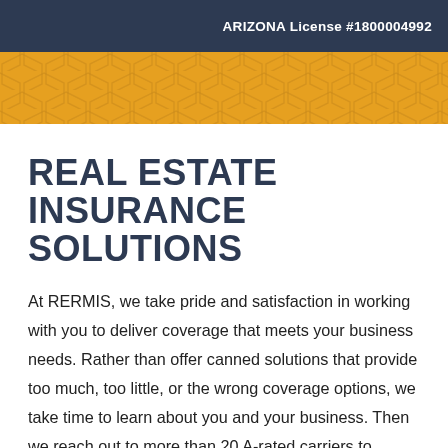ARIZONA License #1800004992
[Figure (other): Gold/amber decorative band with geometric hexagon pattern overlay]
REAL ESTATE INSURANCE SOLUTIONS
At RERMIS, we take pride and satisfaction in working with you to deliver coverage that meets your business needs. Rather than offer canned solutions that provide too much, too little, or the wrong coverage options, we take time to learn about you and your business. Then we reach out to more than 20 A-rated carriers to create a coverage mix tailored to you. We also stay with you over